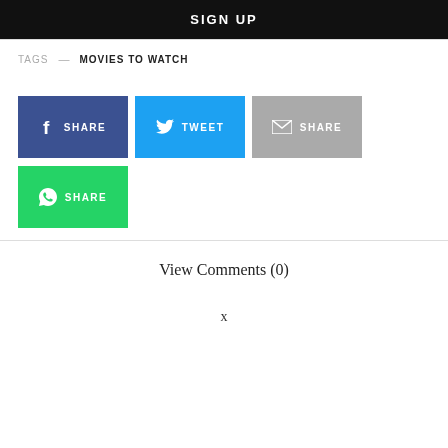SIGN UP
TAGS — MOVIES TO WATCH
[Figure (infographic): Social share buttons: Facebook SHARE (dark blue), Twitter TWEET (blue), Email SHARE (gray), WhatsApp SHARE (green)]
View Comments (0)
x